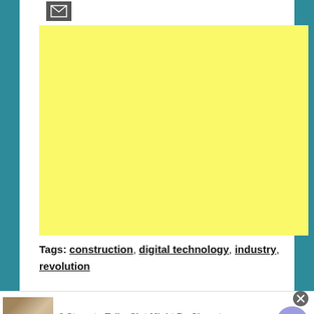[Figure (other): Small envelope/mail icon in a dark grey box at top left of white card]
[Figure (other): Large yellow/light yellow rectangle placeholder advertisement block]
Tags: construction, digital technology, industry, revolution
[Figure (photo): Small thumbnail image of a person wearing a jacket, used as promotional content image]
3 Steps to Tell a Slot Might Be Close to
n/a